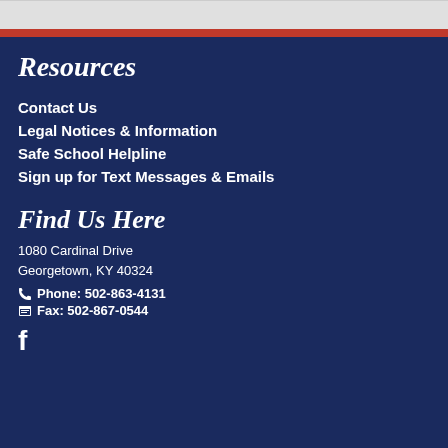Resources
Contact Us
Legal Notices & Information
Safe School Helpline
Sign up for Text Messages & Emails
Find Us Here
1080 Cardinal Drive
Georgetown, KY 40324
Phone: 502-863-4131
Fax: 502-867-0544
[Figure (logo): Facebook logo icon in white]